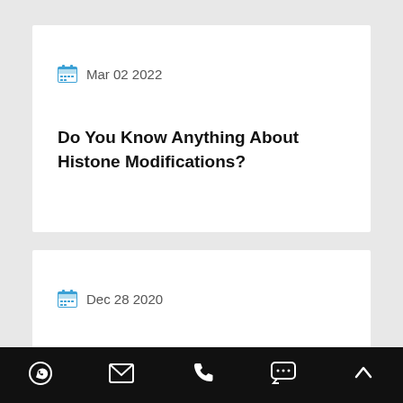Mar 02 2022
Do You Know Anything About Histone Modifications?
Dec 28 2020
Unveiling Ceremony of the Anhui Provicial Engineering Laboratory of Peptide Drugs
WhatsApp | Email | Phone | Chat | Scroll Up